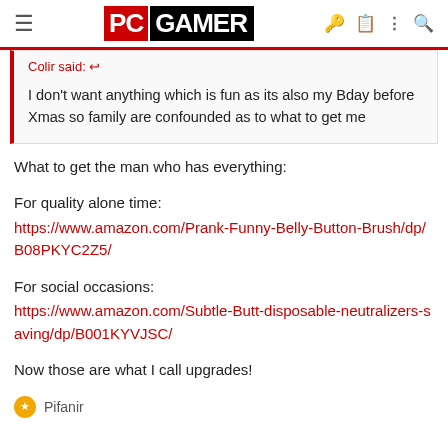PC GAMER
Colir said: ↩

I don't want anything which is fun as its also my Bday before Xmas so family are confounded as to what to get me
What to get the man who has everything:
For quality alone time:
https://www.amazon.com/Prank-Funny-Belly-Button-Brush/dp/B08PKYC2Z5/
For social occasions:
https://www.amazon.com/Subtle-Butt-disposable-neutralizers-saving/dp/B001KYVJSC/
Now those are what I call upgrades!
Pifanir